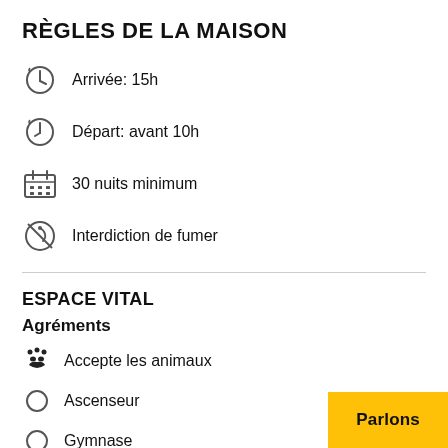RÈGLES DE LA MAISON
Arrivée: 15h
Départ: avant 10h
30 nuits minimum
Interdiction de fumer
ESPACE VITAL
Agréments
Accepte les animaux
Ascenseur
Gymnase
Parlons